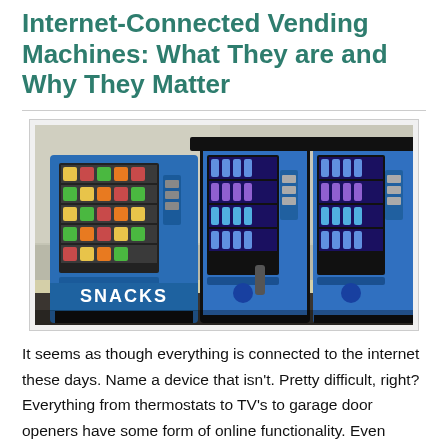Internet-Connected Vending Machines: What They are and Why They Matter
[Figure (photo): Three blue vending machines side by side against a wall. The leftmost machine displays snacks with 'SNACKS' text at the bottom. The middle and right machines contain beverages. They are positioned on a dark mat on a tiled floor.]
It seems as though everything is connected to the internet these days. Name a device that isn't. Pretty difficult, right? Everything from thermostats to TV's to garage door openers have some form of online functionality. Even vending